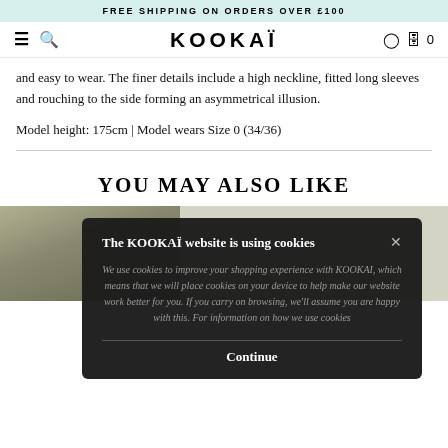FREE SHIPPING ON ORDERS OVER £100
[Figure (screenshot): KOOKAI website navigation bar with hamburger menu, search icon, KOOKAI logo, location pin icon, shopping bag icon with 0]
and easy to wear. The finer details include a high neckline, fitted long sleeves and rouching to the side forming an asymmetrical illusion.
Model height: 175cm | Model wears Size 0 (34/36)
YOU MAY ALSO LIKE
[Figure (photo): Product photo strip showing a model in a lime green outfit]
The KOOKAÏ website is using cookies
We use cookies to improve your shopping experience with KOOKAI, which means that we will place cookies on your device to help make our website work better for you. If you carry on browsing, we'll assume you are happy with this. For information on how we use cookies
Continue